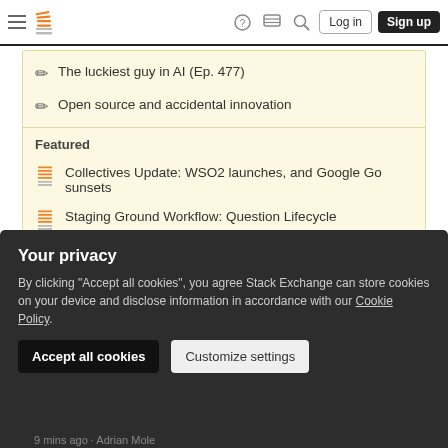Stack Exchange navigation bar with hamburger menu, logo, help, chat, search, Log in, Sign up buttons
The luckiest guy in AI (Ep. 477)
Open source and accidental innovation
Featured
Collectives Update: WSO2 launches, and Google Go sunsets
Staging Ground Workflow: Question Lifecycle
15 people chatting
Your privacy
By clicking "Accept all cookies", you agree Stack Exchange can store cookies on your device and disclose information in accordance with our Cookie Policy.
Accept all cookies | Customize settings
9 mins ago · Adrian Mole